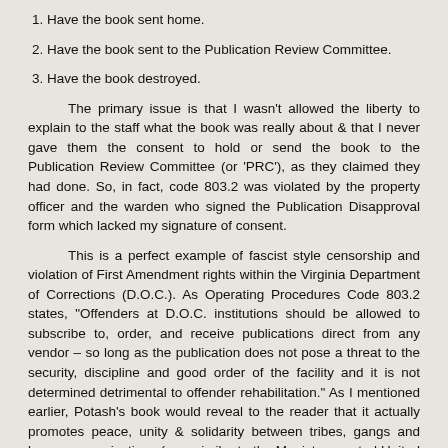1. Have the book sent home.
2. Have the book sent to the Publication Review Committee.
3. Have the book destroyed.
The primary issue is that I wasn't allowed the liberty to explain to the staff what the book was really about & that I never gave them the consent to hold or send the book to the Publication Review Committee (or 'PRC'), as they claimed they had done. So, in fact, code 803.2 was violated by the property officer and the warden who signed the Publication Disapproval form which lacked my signature of consent.
This is a perfect example of fascist style censorship and violation of First Amendment rights within the Virginia Department of Corrections (D.O.C.). As Operating Procedures Code 803.2 states, "Offenders at D.O.C. institutions should be allowed to subscribe to, order, and receive publications direct from any vendor – so long as the publication does not pose a threat to the security, discipline and good order of the facility and it is not determined detrimental to offender rehabilitation." As I mentioned earlier, Potash's book would reveal to the reader that it actually promotes peace, unity & solidarity between tribes, gangs and lumpen organizations (very similar to the Maoist-promoted United Front for Peace in Prisons